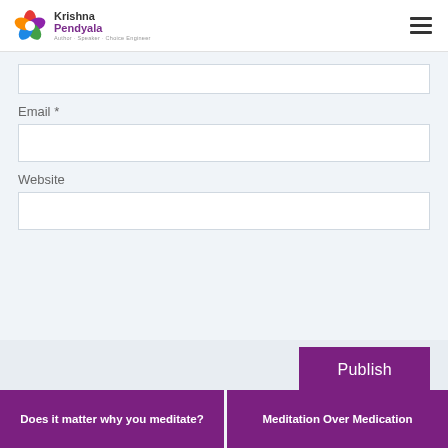Krishna Pendyala — Author · Speaker · Choice Engineer
Email *
Website
Publish
Does it matter why you meditate?
Meditation Over Medication